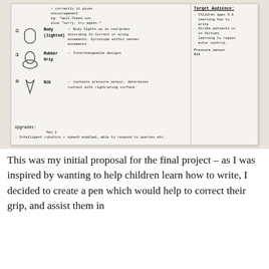[Figure (photo): A handwritten notebook page showing a pen design proposal with labeled sketches. Components: (2) Body (lighted) - lights up red/green based on correct/wrong movements, gyroscope within senses movements; (3) Rubber Grip - interchangeable designs; (4) Nib - contains pressure sensor, determines contact with right/wrong surface. Also shows top notes about encouragement and pressure sensor nib, and a right sidebar for Target Audience (children 5-6 learning to write, stroke patients/victims learning to regain motor control). Upgrades section at bottom mentions intelligent robotics + speech enabled, able to respond to queries etc.]
This was my initial proposal for the final project – as I was inspired by wanting to help children learn how to write, I decided to create a pen which would help to correct their grip, and assist them in